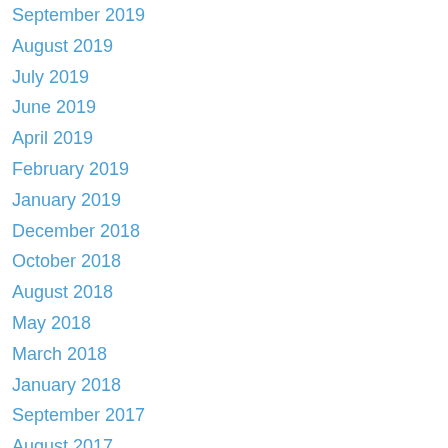September 2019
August 2019
July 2019
June 2019
April 2019
February 2019
January 2019
December 2018
October 2018
August 2018
May 2018
March 2018
January 2018
September 2017
August 2017
June 2017
April 2017
February 2017
January 2017
December 2016
November 2016